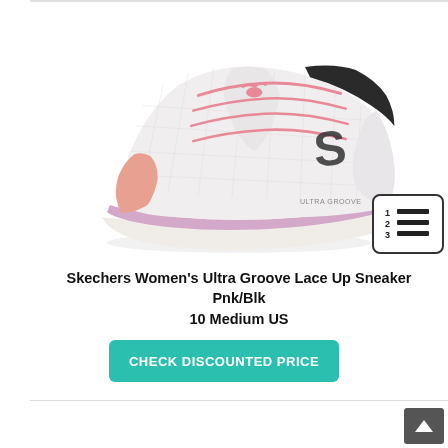[Figure (photo): Photo of a Skechers Women's Ultra Groove Lace Up Sneaker in pink/white/black colorway, shown at an angle on a white background. The shoe features a white mesh upper with a Skechers 'S' logo on the side, pink laces, black collar lining, lavender/pink midsole, and a salmon/pink toe accent.]
Skechers Women's Ultra Groove Lace Up Sneaker Pnk/Blk 10 Medium US
CHECK DISCOUNTED PRICE